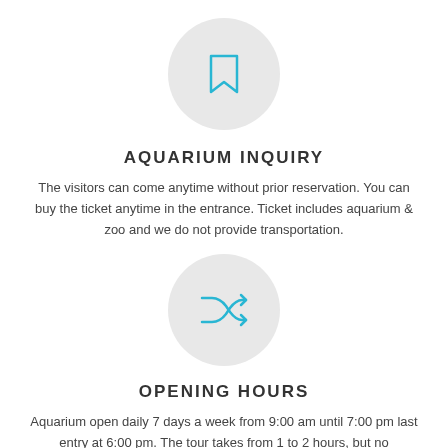[Figure (illustration): Light gray circle containing a cyan/teal bookmark icon]
AQUARIUM INQUIRY
The visitors can come anytime without prior reservation. You can buy the ticket anytime in the entrance. Ticket includes aquarium & zoo and we do not provide transportation.
[Figure (illustration): Light gray circle containing a cyan/teal shuffle/random arrows icon]
OPENING HOURS
Aquarium open daily 7 days a week from 9:00 am until 7:00 pm last entry at 6:00 pm. The tour takes from 1 to 2 hours, but no